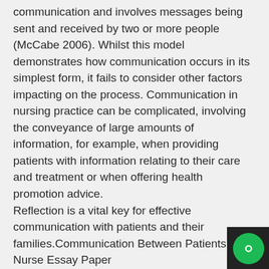communication and involves messages being sent and received by two or more people (McCabe 2006). Whilst this model demonstrates how communication occurs in its simplest form, it fails to consider other factors impacting on the process. Communication in nursing practice can be complicated, involving the conveyance of large amounts of information, for example, when providing patients with information relating to their care and treatment or when offering health promotion advice.
Reflection is a vital key for effective communication with patients and their families.Communication Between Patients And Nurse Essay Paper
The main claim to this paper, is to prove, to have effective communication with patients and their
families, firstly, one must know oneself. Communication is a two-way street Yes…but for